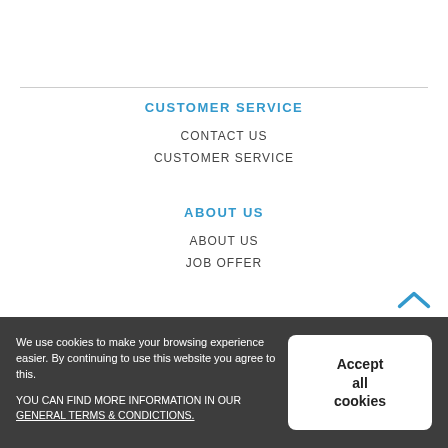CUSTOMER SERVICE
CONTACT US
CUSTOMER SERVICE
ABOUT US
ABOUT US
JOB OFFER
We use cookies to make your browsing experience easier. By continuing to use this website you agree to this.

YOU CAN FIND MORE INFORMATION IN OUR GENERAL TERMS & CONDICTIONS.
Accept all cookies